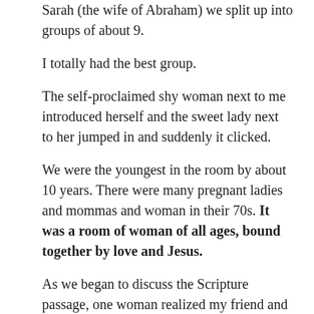Sarah (the wife of Abraham) we split up into groups of about 9.
I totally had the best group.
The self-proclaimed shy woman next to me introduced herself and the sweet lady next to her jumped in and suddenly it clicked.
We were the youngest in the room by about 10 years. There were many pregnant ladies and mommas and woman in their 70s. It was a room of woman of all ages, bound together by love and Jesus.
As we began to discuss the Scripture passage, one woman realized my friend and I obviously didn't know anyone, so they went around the circle and introduced themselves. But first, we spoke. I was